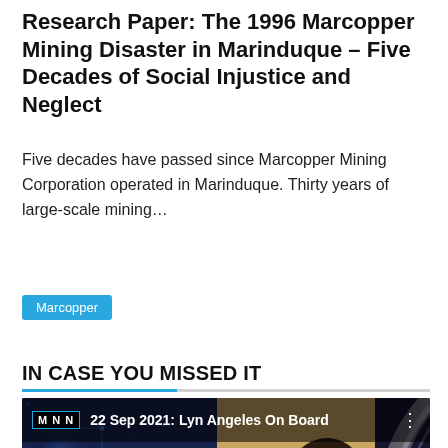Research Paper: The 1996 Marcopper Mining Disaster in Marinduque – Five Decades of Social Injustice and Neglect
Five decades have passed since Marcopper Mining Corporation operated in Marinduque. Thirty years of large-scale mining…
Marcopper
IN CASE YOU MISSED IT
[Figure (screenshot): Embedded YouTube video thumbnail showing a woman with headphones at a microphone, with MNN logo and title '22 Sep 2021: Lyn Angeles On Board' and a red YouTube play button overlay. Blue tech/circuit background on left, curved silver design on right.]